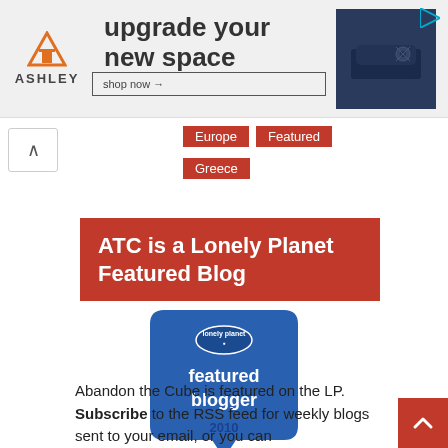[Figure (screenshot): Ashley Furniture advertisement banner: orange house logo, 'ASHLEY' text, 'upgrade your new space' headline, 'shop now' button, dark blue couch image on right]
Europe
Featured
Greece
ATC is a Lonely Planet Featured Blog
[Figure (logo): Lonely Planet featured blogger 2010 badge: blue speech bubble shape with 'lonely planet' logo at top, 'featured blogger' text, '2010' at bottom]
Abandon the Cube is featured on the LP. Subscribe to the RSS feed for weekly blogs sent to your email, or you can